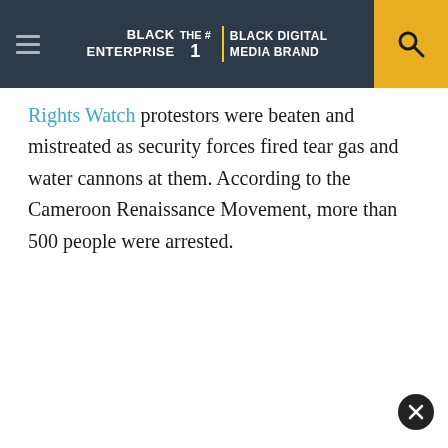BLACK ENTERPRISE — THE #1 BLACK DIGITAL MEDIA BRAND
Rights Watch protestors were beaten and mistreated as security forces fired tear gas and water cannons at them. According to the Cameroon Renaissance Movement, more than 500 people were arrested.